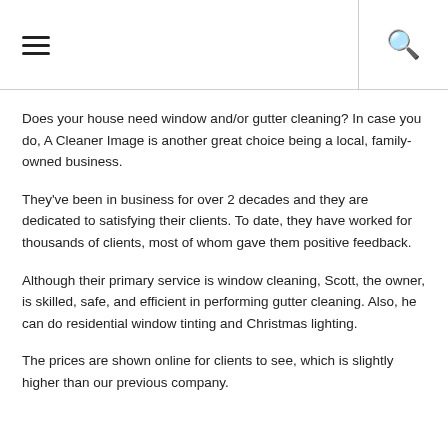≡  🔍
Does your house need window and/or gutter cleaning? In case you do, A Cleaner Image is another great choice being a local, family-owned business.
They've been in business for over 2 decades and they are dedicated to satisfying their clients. To date, they have worked for thousands of clients, most of whom gave them positive feedback.
Although their primary service is window cleaning, Scott, the owner, is skilled, safe, and efficient in performing gutter cleaning. Also, he can do residential window tinting and Christmas lighting.
The prices are shown online for clients to see, which is slightly higher than our previous company.